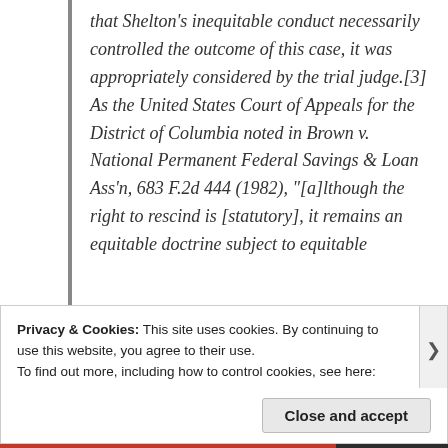that Shelton's inequitable conduct necessarily controlled the outcome of this case, it was appropriately considered by the trial judge.[3] As the United States Court of Appeals for the District of Columbia noted in Brown v. National Permanent Federal Savings & Loan Ass'n, 683 F.2d 444 (1982), "[a]lthough the right to rescind is [statutory], it remains an equitable doctrine subject to equitable
Privacy & Cookies: This site uses cookies. By continuing to use this website, you agree to their use.
To find out more, including how to control cookies, see here: Cookie Policy
Close and accept